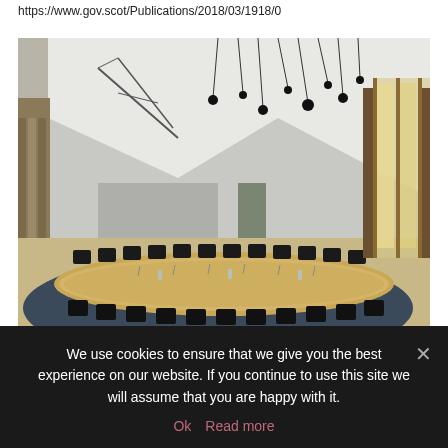https://www.gov.scot/Publications/2018/03/1918/0
[Figure (photo): Interior of a Scottish Parliament committee room showing a large oval wooden conference table with black chairs arranged around it, distinctive angular white ceiling with modern pendant light fixtures, tall windows with wooden surrounds on the right side, and wooden wall paneling.]
We use cookies to ensure that we give you the best experience on our website. If you continue to use this site we will assume that you are happy with it.
Ok   Read more